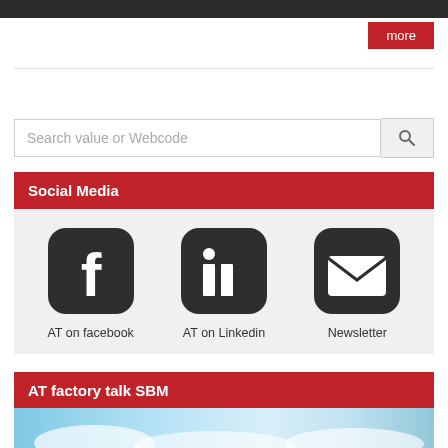more
Search value or Webcode
Social Media
[Figure (illustration): Three social media icons: Facebook (f logo), LinkedIn (in logo), and Newsletter (envelope icon), with labels 'AT on facebook', 'AT on Linkedin', 'Newsletter']
AT factory talk SBM
[Figure (photo): Partial photo of a sky with clouds at the bottom of the page]